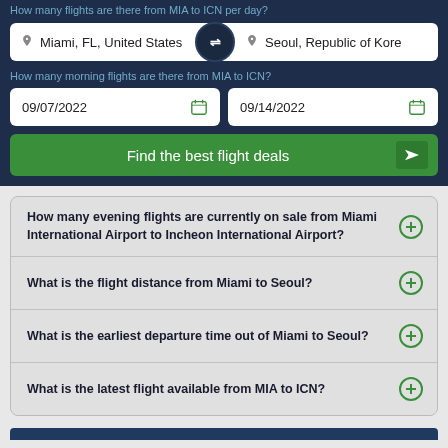How many flights are there from MIA to ICN per day?
Miami, FL, United States
Seoul, Republic of Kore
How many morning flights are there from MIA to ICN?
09/07/2022
09/14/2022
Find the best flight deals
How many evening flights are currently on sale from Miami International Airport to Incheon International Airport?
What is the flight distance from Miami to Seoul?
What is the earliest departure time out of Miami to Seoul?
What is the latest flight available from MIA to ICN?